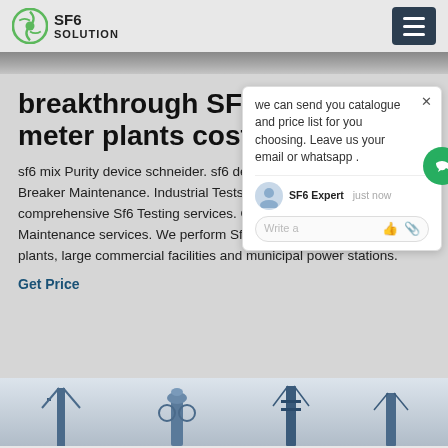SF6 SOLUTION
breakthrough SF6 quality meter plants cost
sf6 mix Purity device schneider. sf6 device schneiderSF6 Circuit Breaker Maintenance. Industrial Tests, Inc. provides comprehensive Sf6 Testing services. Our Electrical Testing and Maintenance services. We perform Sf6 Testing for industrial plants, large commercial facilities and municipal power stations.
Get Price
[Figure (screenshot): Chat popup overlay showing message: 'we can send you catalogue and price list for you choosing. Leave us your email or whatsapp .' with SF6 Expert avatar and just now timestamp, plus Write a message input field.]
[Figure (photo): Bottom strip showing industrial electrical equipment and power station structures in blue-gray tones.]